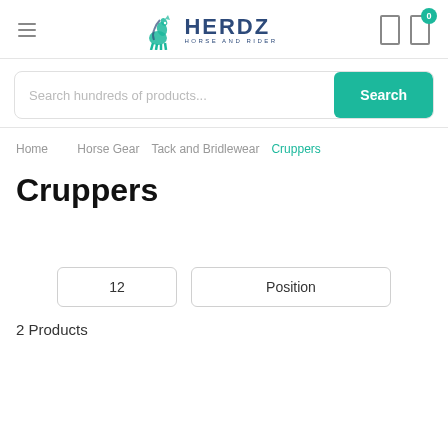[Figure (logo): Herdz Horse and Rider logo with teal horse illustration and dark blue text]
Search hundreds of products...
Search
Home  Horse Gear  Tack and Bridlewear  Cruppers
Cruppers
12
Position
2 Products